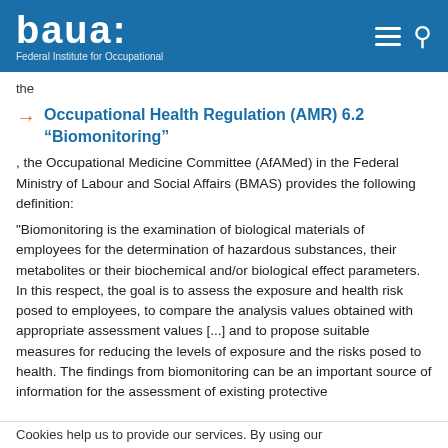baua: Federal Institute for Occupational
the
Occupational Health Regulation (AMR) 6.2 "Biomonitoring"
, the Occupational Medicine Committee (AfAMed) in the Federal Ministry of Labour and Social Affairs (BMAS) provides the following definition:
"Biomonitoring is the examination of biological materials of employees for the determination of hazardous substances, their metabolites or their biochemical and/or biological effect parameters. In this respect, the goal is to assess the exposure and health risk posed to employees, to compare the analysis values obtained with appropriate assessment values [...] and to propose suitable measures for reducing the levels of exposure and the risks posed to health. The findings from biomonitoring can be an important source of information for the assessment of existing protective
Cookies help us to provide our services. By using our